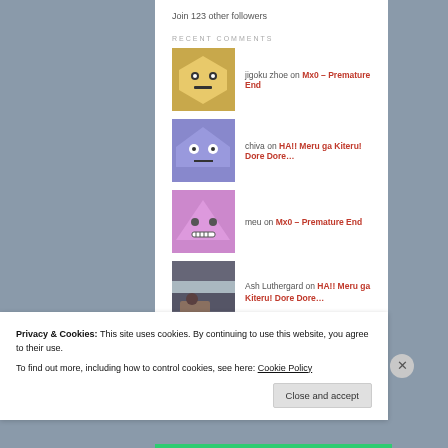Join 123 other followers
RECENT COMMENTS
jigoku zhoe on Mx0 – Premature End
chiva on HA!! Meru ga Kiteru! Dore Dore…
meu on Mx0 – Premature End
Ash Luthergard on HA!! Meru ga Kiteru! Dore Dore…
Privacy & Cookies: This site uses cookies. By continuing to use this website, you agree to their use.
To find out more, including how to control cookies, see here: Cookie Policy
Close and accept